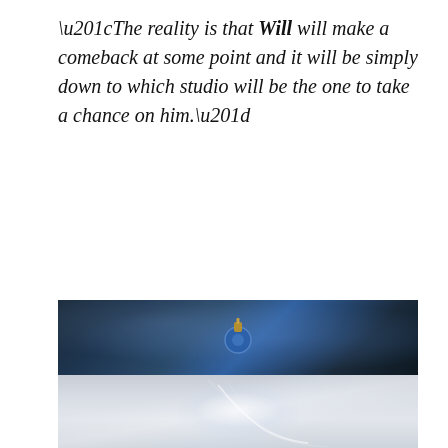“The reality is that Will will make a comeback at some point and it will be simply down to which studio will be the one to take a chance on him.”
[Figure (photo): A dark dramatic photo split into two halves: the top half shows a dark blue smoky background with what appears to be a figure wearing an ornate blue and gold headpiece; the bottom half shows a lighter grey-toned continuation with a glowing bright spot and flowing white elements.]